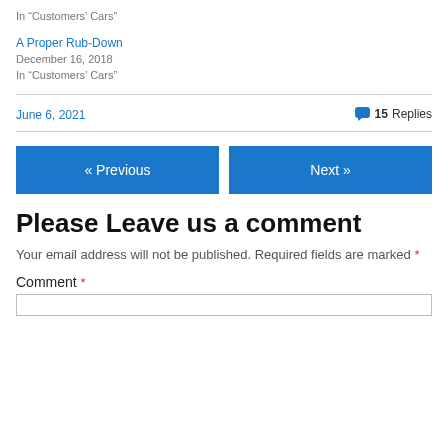In “Customers’ Cars”
A Proper Rub-Down
December 16, 2018
In “Customers’ Cars”
June 6, 2021
15 Replies
« Previous
Next »
Please Leave us a comment
Your email address will not be published. Required fields are marked *
Comment *